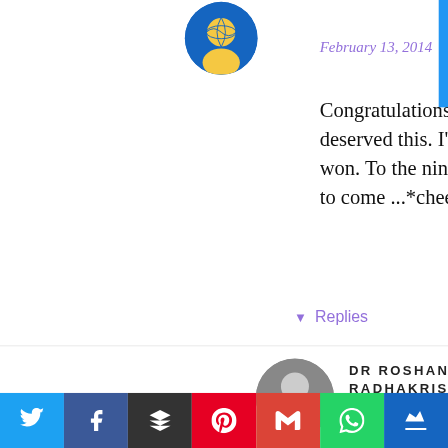[Figure (photo): Round avatar image with blue and yellow design, top area]
February 13, 2014
Congratulations!! You totally deserved this. I'm really glad you won. To the nine years and the ones to come ...*cheers*
Reply
▾ Replies
[Figure (photo): Round avatar photo of Dr Roshan Radhakrishnan]
DR ROSHAN RADHAKRISHNAN
February 14, 2014
Thanks Swarnali..
[Figure (infographic): Social share bar with icons: Twitter, Facebook, Buffer, Pinterest, Gmail, WhatsApp, Crown]